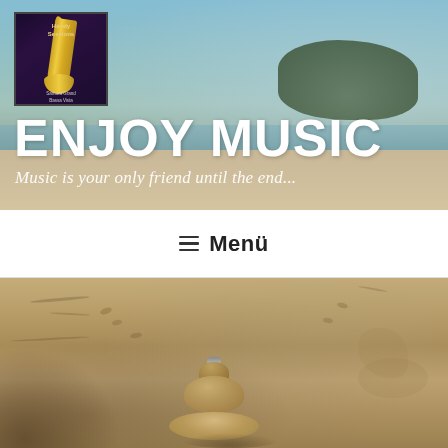[Figure (photo): Website header banner with beach/coastal landscape background. Shows ocean, sandy beach, and a green island/hill in the distance under a partly cloudy sky. An album cover image for 'Handy Sessions' by 'Samara Grand Bassa Vista' is in the top-left corner showing a saxophone against a dark purple background.]
ENJOY MUSIC
Music is your only friend until the end...
≡  Menü
[Figure (photo): Close-up photograph of a sand sculpture on a beach. The sculpture resembles a small stacked conical sandcastle or sand figure with multiple tiers, sitting on wet sandy beach with footprints and marks around it.]